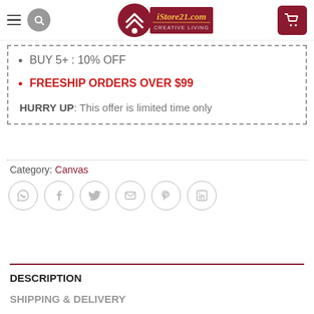[Figure (logo): iStore21.com logo with house/key icon and CREATIVE LIVING tagline]
BUY 5+ : 10% OFF
FREESHIP ORDERS OVER $99
HURRY UP: This offer is limited time only
Category: Canvas
[Figure (infographic): Row of 6 social share icons: WhatsApp, Facebook, Twitter, Email, Pinterest, LinkedIn]
DESCRIPTION
SHIPPING & DELIVERY